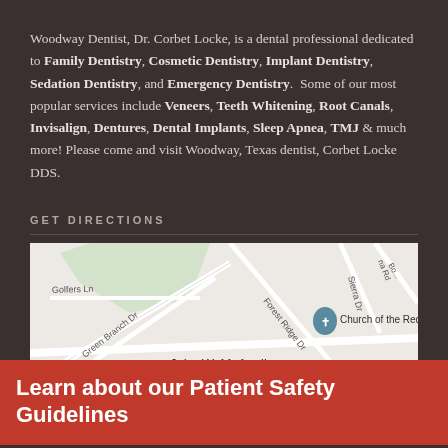Woodway Dentist, Dr. Corbet Locke, is a dental professional dedicated to Family Dentistry, Cosmetic Dentistry, Implant Dentistry, Sedation Dentistry, and Emergency Dentistry. Some of our most popular services include Veneers, Teeth Whitening, Root Canals, Invisalign, Dentures, Dental Implants, Sleep Apnea, TMJ & much more! Please come and visit Woodway, Texas dentist, Corbet Locke DDS.
GET DIRECTIONS
[Figure (map): Google Maps showing area around Church of the Redeemer, John W. McAnally road, Golfers Ln, Green Branch Dr, Forest Ridge Dr, Sierra Dr in Woodway, Texas]
Learn about our Patient Safety Guidelines